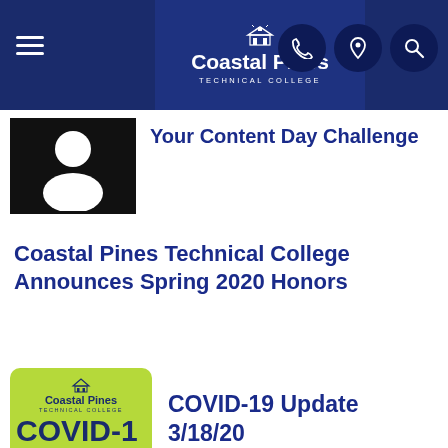[Figure (logo): Coastal Pines Technical College navigation bar with hamburger menu, college logo, phone, location, and search icons]
[Figure (illustration): Generic user/person silhouette thumbnail for article]
Your Content Day Challenge
Coastal Pines Technical College Announces Spring 2020 Honors
[Figure (illustration): COVID-19 Update 3/18/2020 graphic with Coastal Pines logo on green background]
COVID-19 Update 3/18/20